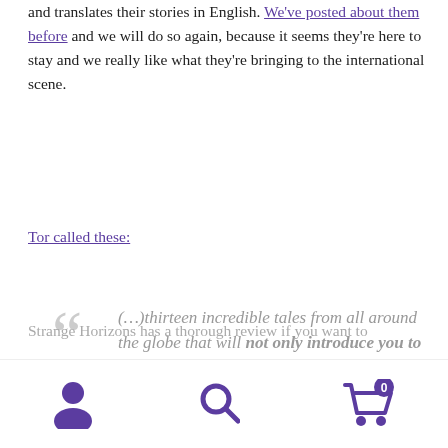and translates their stories in English. We've posted about them before and we will do so again, because it seems they're here to stay and we really like what they're bringing to the international scene.
Tor called these:
(…)thirteen incredible tales from all around the globe that will not only introduce you to worlds you may not be familiar with but also expand your horizons and the horizons of the science fiction field itself.
Strange Horizons has a thorough review if you want to
[Figure (infographic): Bottom navigation bar with three purple icons: user/account icon, search magnifying glass icon, and shopping cart icon with badge showing 0]